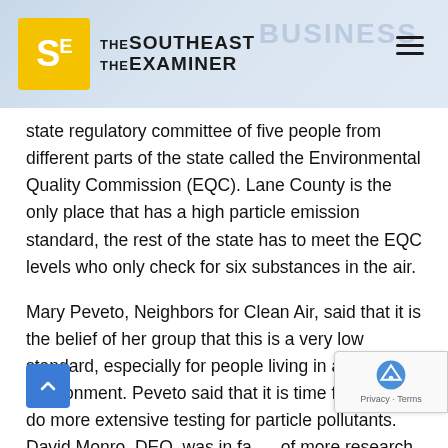The Southeast Examiner
state regulatory committee of five people from different parts of the state called the Environmental Quality Commission (EQC). Lane County is the only place that has a high particle emission standard, the rest of the state has to meet the EQC levels who only check for six substances in the air.
Mary Peveto, Neighbors for Clean Air, said that it is the belief of her group that this is a very low standard, especially for people living in an urban environment. Peveto said that it is time for DEQ to do more extensive testing for particle pollutants. David Monro, DEQ, was in favor of more research, but he said like most bureaucracies, especially environmental departments, they are stretched to their limit financially.